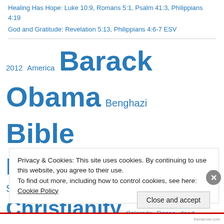Healing Has Hope: Luke 10:9, Romans 5:1, Psalm 41:3, Philippians 4:19
God and Gratitude: Revelation 5:13, Philippians 4:6-7 ESV
[Figure (infographic): Tag cloud with words of varying sizes in blue: 2012, America, Barack Obama (large), Benghazi, Bible (large), Bible scripture (large), Bible Scriptures, cat, Catholic, Christ, Christianity (very large), Colorado, Dance, dead, Donald Trump, election (large), 2012, English Standard Version, ESV, Faith, Florida, God (very large), GOP (partially visible)]
Privacy & Cookies: This site uses cookies. By continuing to use this website, you agree to their use.
To find out more, including how to control cookies, see here: Cookie Policy
Close and accept